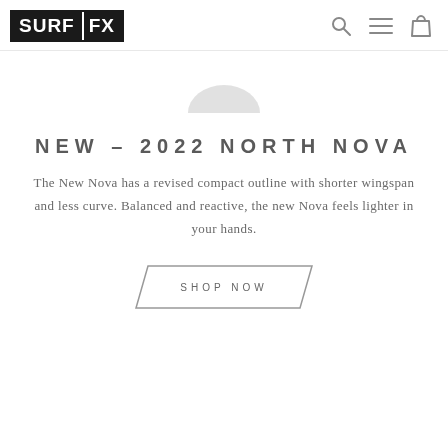SURF FX — navigation header with search, menu, and bag icons
[Figure (photo): Partial view of a product (kite/wing) partially visible at top of page, grey curved shape]
NEW – 2022 NORTH NOVA
The New Nova has a revised compact outline with shorter wingspan and less curve. Balanced and reactive, the new Nova feels lighter in your hands.
SHOP NOW